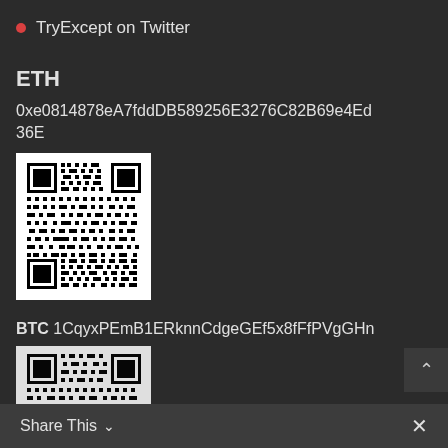TryExcept on Twitter
ETH
0xe0814878eA7fddDB589256E3276C82B69e4Ed36E
[Figure (other): QR code for Ethereum address 0xe0814878eA7fddDB589256E3276C82B69e4Ed36E]
BTC 1CqyxPEmB1ERknnCdgeGEf5x8fFfPVgGHn
[Figure (other): QR code for Bitcoin address 1CqyxPEmB1ERknnCdgeGEf5x8fFfPVgGHn (partially visible)]
Share This ∨  ×